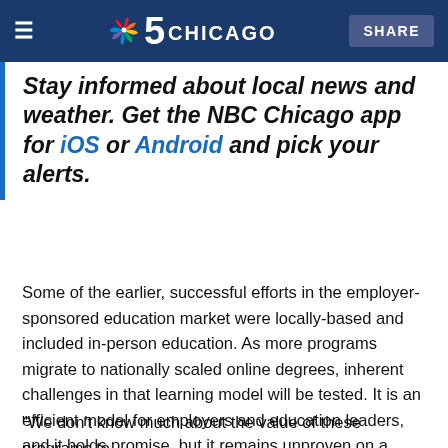NBC 5 Chicago — SHARE
Stay informed about local news and weather. Get the NBC Chicago app for iOS or Android and pick your alerts.
Some of the earlier, successful efforts in the employer-sponsored education market were locally-based and included in-person education. As more programs migrate to nationally scaled online degrees, inherent challenges in that learning model will be tested. It is an efficient model for employers and education leaders, and it holds promise, but it remains unproven on a large scale.
"We don't know much about the value of these programs to workers," said...